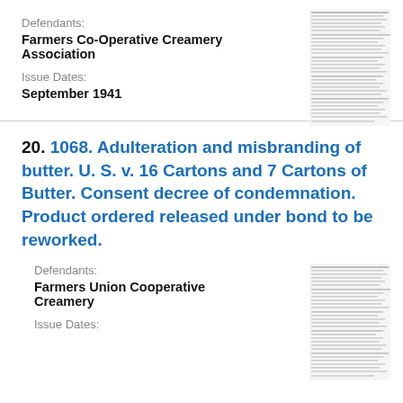Defendants:
Farmers Co-Operative Creamery Association
Issue Dates:
September 1941
[Figure (screenshot): Thumbnail image of a dense text document page]
20. 1068. Adulteration and misbranding of butter. U. S. v. 16 Cartons and 7 Cartons of Butter. Consent decree of condemnation. Product ordered released under bond to be reworked.
Defendants:
Farmers Union Cooperative Creamery
Issue Dates:
[Figure (screenshot): Thumbnail image of a dense text document page]